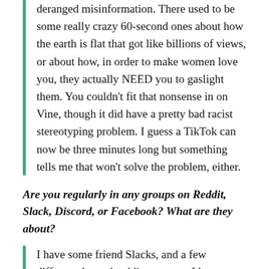deranged misinformation. There used to be some really crazy 60-second ones about how the earth is flat that got like billions of views, or about how, in order to make women love you, they actually NEED you to gaslight them. You couldn't fit that nonsense in on Vine, though it did have a pretty bad racist stereotyping problem. I guess a TikTok can now be three minutes long but something tells me that won't solve the problem, either.
Are you regularly in any groups on Reddit, Slack, Discord, or Facebook? What are they about?
I have some friend Slacks, and a few different themed reddit accounts. I have my own Discord community tagging off of my column, Ask A